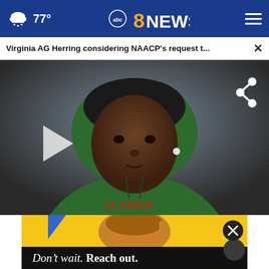77° abc8NEWS
Virginia AG Herring considering NAACP's request t...
[Figure (photo): Young Black man wearing a dark green hoodie and black beanie, looking forward. Gray/blurred background. Video player interface with play button on left and share icon on upper right.]
[Figure (photo): Advertisement overlay showing a smiling person on yellow background with a close (x) button, and a dark bar below reading "Don't wait. Reach out." in italic and bold text.]